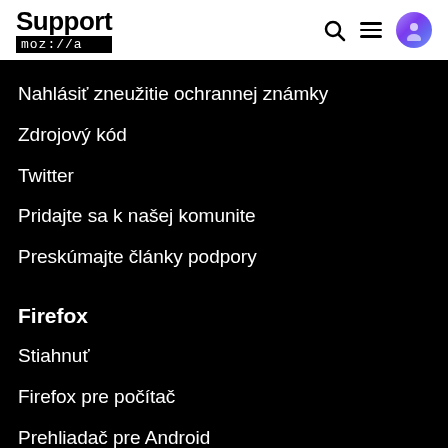Support mozilla // a
Nahlásiť zneužitie ochrannej známky
Zdrojový kód
Twitter
Pridajte sa k našej komunite
Preskúmajte články podpory
Firefox
Stiahnuť
Firefox pre počítač
Prehliadač pre Android